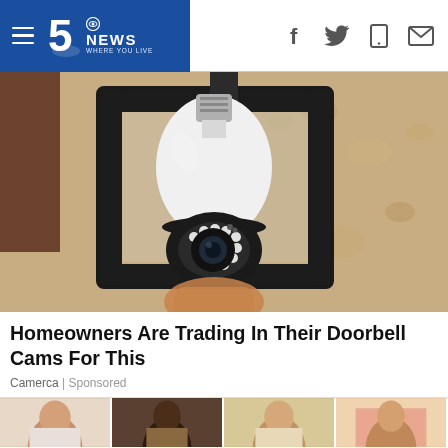5o NEWS WHERE YOU LIVE
[Figure (photo): A light bulb security camera installed inside a black metal outdoor lantern fixture mounted on a textured stucco wall. A hand is visible holding/installing the bulb-shaped camera device.]
Homeowners Are Trading In Their Doorbell Cams For This
Camerca | Sponsored
[Figure (photo): Strip of thumbnail images showing various people, partially visible at the bottom of the page.]